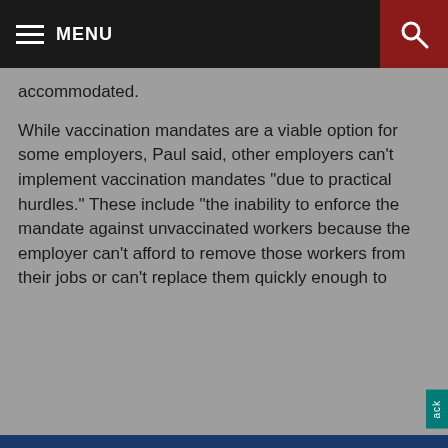MENU
accommodated.
While vaccination mandates are a viable option for some employers, Paul said, other employers can't implement vaccination mandates "due to practical hurdles." These include "the inability to enforce the mandate against unvaccinated workers because the employer can't afford to remove those workers from their jobs or can't replace them quickly enough to
We use cookies to make our site work, to improve your experience, and we use our own, and third-party cookies, for advertising. Please see our Cookie Policy for more information and how to disable them. By clicking accept, or closing the message and continuing to use this site, you agree to our use of cookies.
ACCEPT